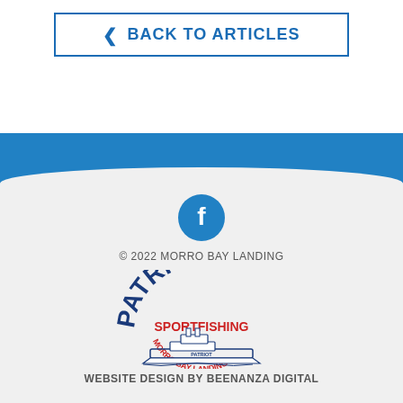< BACK TO ARTICLES
[Figure (illustration): Blue horizontal banner with water/wave texture]
[Figure (logo): Facebook circular icon button in blue]
© 2022 MORRO BAY LANDING
[Figure (logo): Patriot Sportfishing Morro Bay Landing logo with boat illustration]
WEBSITE DESIGN BY BEENANZA DIGITAL